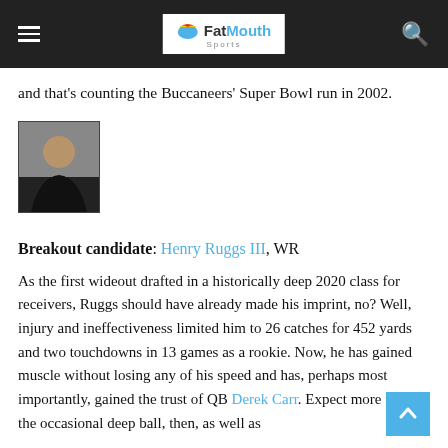FatMouth Sports
and that's counting the Buccaneers' Super Bowl run in 2002.
[Figure (photo): Headshot photo of Henry Ruggs III in a dark jersey]
Breakout candidate: Henry Ruggs III, WR
As the first wideout drafted in a historically deep 2020 class for receivers, Ruggs should have already made his imprint, no? Well, injury and ineffectiveness limited him to 26 catches for 452 yards and two touchdowns in 13 games as a rookie. Now, he has gained muscle without losing any of his speed and has, perhaps most importantly, gained the trust of QB Derek Carr. Expect more than the occasional deep ball, then, as well as